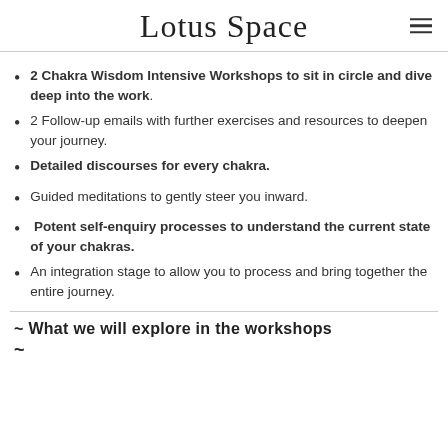Lotus Space
2 Chakra Wisdom Intensive Workshops to sit in circle and dive deep into the work.
2 Follow-up emails with further exercises and resources to deepen your journey.
Detailed discourses for every chakra.
Guided meditations to gently steer you inward.
Potent self-enquiry processes to understand the current state of your chakras.
An integration stage to allow you to process and bring together the entire journey.
~ What we will explore in the workshops ~